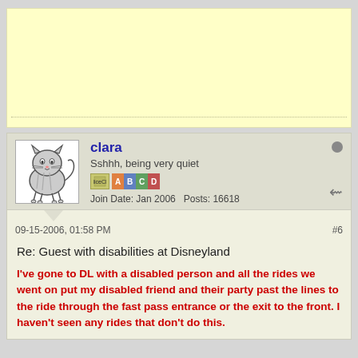[Figure (other): Advertisement block with light yellow background and dotted divider line]
[Figure (other): Forum user avatar: cartoon cat drawing]
clara
Sshhh, being very quiet
Join Date: Jan 2006   Posts: 16618
09-15-2006, 01:58 PM
#6
Re: Guest with disabilities at Disneyland
I've gone to DL with a disabled person and all the rides we went on put my disabled friend and their party past the lines to the ride through the fast pass entrance or the exit to the front. I haven't seen any rides that don't do this.